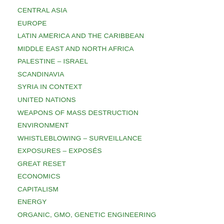CENTRAL ASIA
EUROPE
LATIN AMERICA AND THE CARIBBEAN
MIDDLE EAST AND NORTH AFRICA
PALESTINE – ISRAEL
SCANDINAVIA
SYRIA IN CONTEXT
UNITED NATIONS
WEAPONS OF MASS DESTRUCTION
ENVIRONMENT
WHISTLEBLOWING – SURVEILLANCE
EXPOSURES – EXPOSÉS
GREAT RESET
ECONOMICS
CAPITALISM
ENERGY
ORGANIC, GMO, GENETIC ENGINEERING
ANNOUNCEMENTS
REVIEWS
SPORTS
TECHNOLOGY